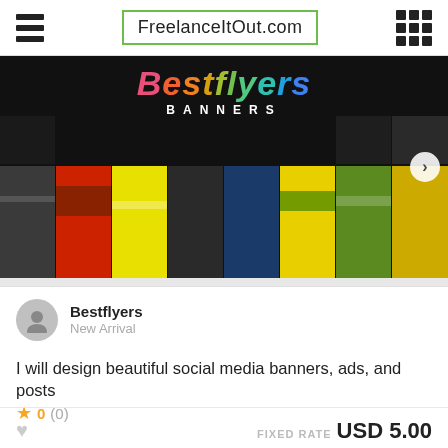FreelanceItOut.com
[Figure (screenshot): Bestflyers banners promotional image with colorful collage of design work]
Bestflyers
New Arrival
I will design beautiful social media banners, ads, and posts
★ 0 (0)
FIXED RATE USD 5.00